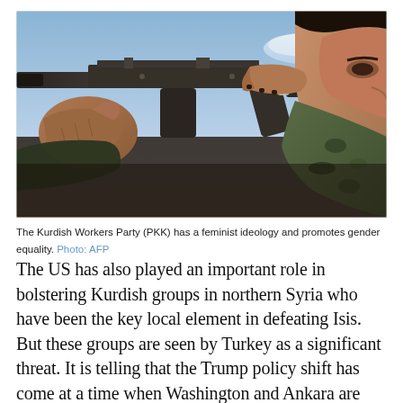[Figure (photo): A female Kurdish fighter in camouflage uniform aiming an AK-style rifle, viewed from below against a blue sky background.]
The Kurdish Workers Party (PKK) has a feminist ideology and promotes gender equality. Photo: AFP
The US has also played an important role in bolstering Kurdish groups in northern Syria who have been the key local element in defeating Isis. But these groups are seen by Turkey as a significant threat. It is telling that the Trump policy shift has come at a time when Washington and Ankara are trying to navigate a new bout of